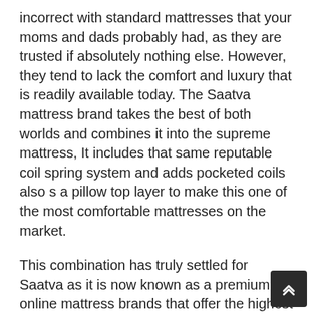incorrect with standard mattresses that your moms and dads probably had, as they are trusted if absolutely nothing else. However, they tend to lack the comfort and luxury that is readily available today. The Saatva mattress brand takes the best of both worlds and combines it into the supreme mattress, It includes that same reputable coil spring system and adds pocketed coils also s a pillow top layer to make this one of the most comfortable mattresses on the market.
This combination has truly settled for Saatva as it is now known as a premium online mattress brands that offer the highest quality beds at a cost effective cost. Be cautioned, this is not the very best bed for anyone on a budget plan. However, if you are willing to invest over $1,000 for a bed it might deserve it.